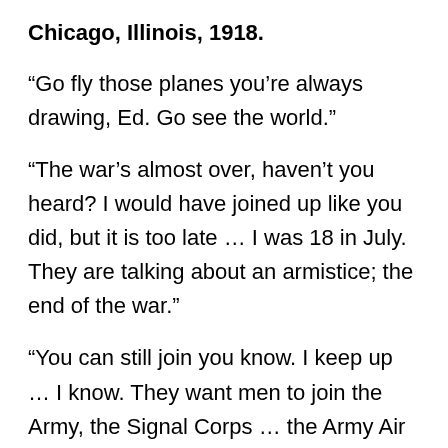Chicago, Illinois, 1918.
“Go fly those planes you’re always drawing, Ed. Go see the world.”
“The war’s almost over, haven’t you heard? I would have joined up like you did, but it is too late … I was 18 in July. They are talking about an armistice; the end of the war.”
“You can still join you know. I keep up … I know. They want men to join the Army, the Signal Corps … the Army Air Service they call it. Not so much to be pilots … there’s plenty of them left over from the war … but to learn how